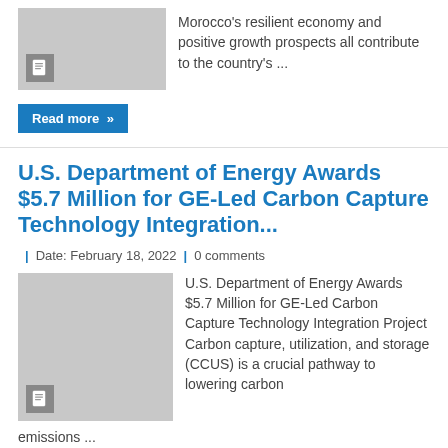[Figure (photo): Gray placeholder thumbnail with document icon]
Morocco's resilient economy and positive growth prospects all contribute to the country's ...
Read more »
U.S. Department of Energy Awards $5.7 Million for GE-Led Carbon Capture Technology Integration...
| Date: February 18, 2022 | 0 comments
[Figure (photo): Gray placeholder thumbnail with document icon]
U.S. Department of Energy Awards $5.7 Million for GE-Led Carbon Capture Technology Integration Project Carbon capture, utilization, and storage (CCUS) is a crucial pathway to lowering carbon emissions ...
Read more »